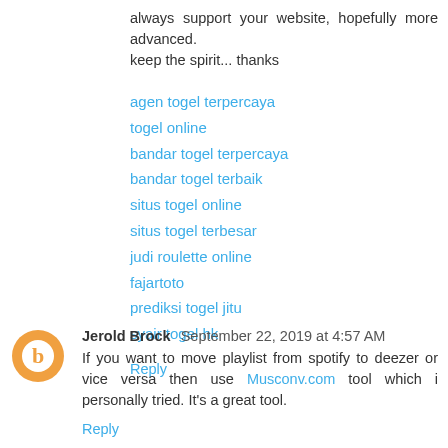always support your website, hopefully more advanced. keep the spirit... thanks
agen togel terpercaya
togel online
bandar togel terpercaya
bandar togel terbaik
situs togel online
situs togel terbesar
judi roulette online
fajartoto
prediksi togel jitu
syair togel hk
Reply
Jerold Brock  September 22, 2019 at 4:57 AM
If you want to move playlist from spotify to deezer or vice versa then use Musconv.com tool which i personally tried. It's a great tool.
Reply